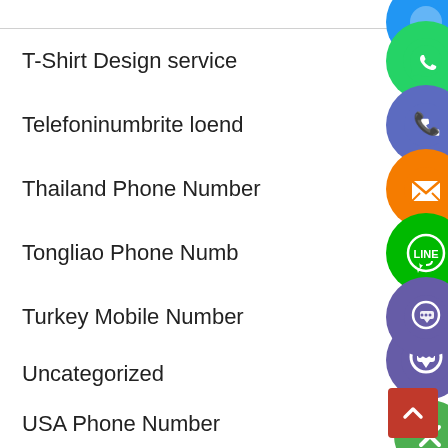T-Shirt Design service
Telefoninumbrite loend
Thailand Phone Number
Tongliao Phone Number
Turkey Mobile Number
Uncategorized
USA Phone Number
Venezuela Phone Number
[Figure (screenshot): Social media app icons (WhatsApp, phone, email/orange, LINE, Viber, close/X) overlapping the list rows on the right side, plus a red back-to-top button at bottom right]